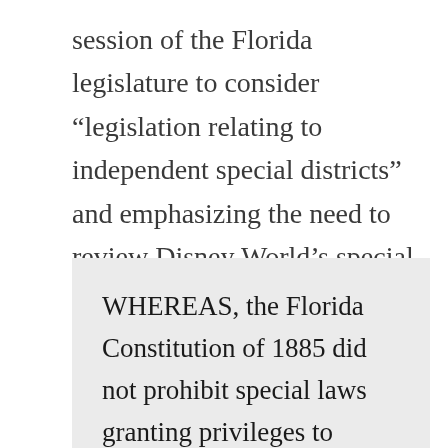session of the Florida legislature to consider “legislation relating to independent special districts” and emphasizing the need to review Disney World’s special status:
WHEREAS, the Florida Constitution of 1885 did not prohibit special laws granting privileges to private corporations; and